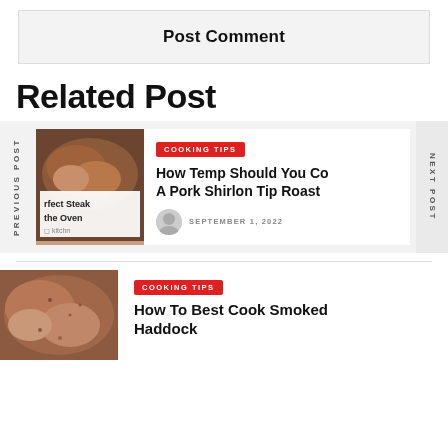Post Comment
Related Post
PREVIOUS POST
[Figure (photo): Photo of a steak with text overlay 'rfect Steak the Oven']
COOKING TIPS
How Temp Should You Co A Pork Shirlon Tip Roast
SEPTEMBER 1, 2022
NEXT POST
COOKING TIPS
How To Best Cook Smoked Haddock
[Figure (photo): Photo of smoked haddock close-up]